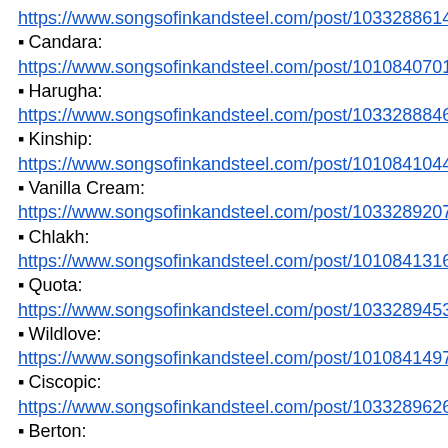https://www.songsofinkandsteel.com/post/1033288614961
Candara: https://www.songsofinkandsteel.com/post/1010840701468
Harugha: https://www.songsofinkandsteel.com/post/1033288846461
Kinship: https://www.songsofinkandsteel.com/post/1010841044800
Vanilla Cream: https://www.songsofinkandsteel.com/post/1033289207259
Chlakh: https://www.songsofinkandsteel.com/post/1010841316368
Quota: https://www.songsofinkandsteel.com/post/1033289453559
Wildlove: https://www.songsofinkandsteel.com/post/1010841497994
Ciscopic: https://www.songsofinkandsteel.com/post/1033289626329
Berton: